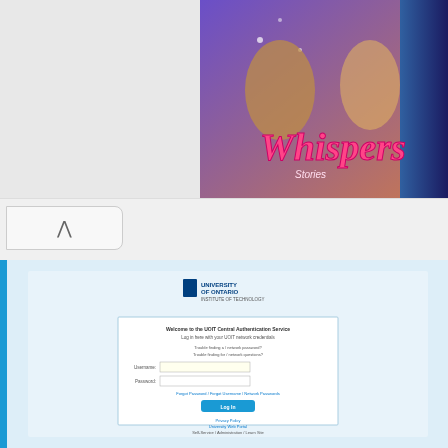[Figure (screenshot): Whispers game advertisement banner in top right corner of browser]
[Figure (screenshot): UOIT Central Authentication Service login page screenshot showing UOIT logo, login form with username and password fields, and a Log In button]
UOIT Central Authentication Service
https://login.uoit.ca/cas/login
UOIT logo. Welcome to the UOIT Central Authentication Service Log in here with